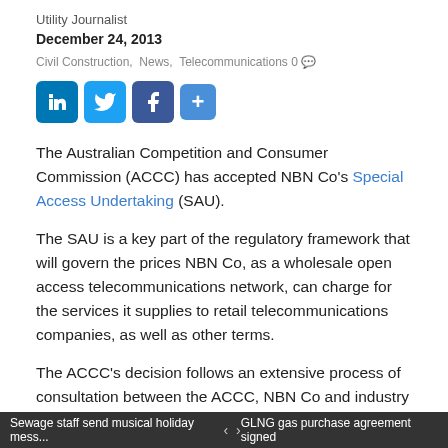Utility Journalist
December 24, 2013
Civil Construction,  News,  Telecommunications 0
[Figure (other): Social media share icons: LinkedIn, Twitter, Facebook, and a plus button]
The Australian Competition and Consumer Commission (ACCC) has accepted NBN Co's Special Access Undertaking (SAU).
The SAU is a key part of the regulatory framework that will govern the prices NBN Co, as a wholesale open access telecommunications network, can charge for the services it supplies to retail telecommunications companies, as well as other terms.
The ACCC's decision follows an extensive process of consultation between the ACCC, NBN Co and industry stakeholders in relation to this unprecedented and
Sewage staff send musical holiday mess...   <   >   GLNG gas purchase agreement signed